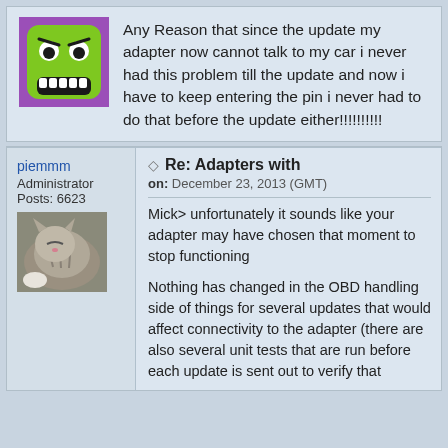[Figure (illustration): Green angry/frustrated emoticon avatar with wide eyes and gritted teeth, purple background square]
Any Reason that since the update my adapter now cannot talk to my car i never had this problem till the update and now i have to keep entering the pin i never had to do that before the update either!!!!!!!!!!
piemmm
Administrator
Posts: 6623
[Figure (photo): Photo of a tabby cat sleeping/resting, used as forum avatar]
Re: Adapters with
on: December 23, 2013 (GMT)
Mick> unfortunately it sounds like your adapter may have chosen that moment to stop functioning
Nothing has changed in the OBD handling side of things for several updates that would affect connectivity to the adapter (there are also several unit tests that are run before each update is sent out to verify that something is working properly)